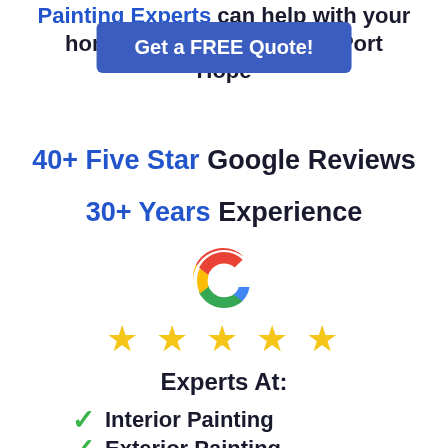Painting Experts can help with your home or Port Hope
Get a FREE Quote!
40+ Five Star Google Reviews
30+ Years Experience
[Figure (logo): Google multicolor G logo]
[Figure (illustration): Five yellow stars rating]
Experts At:
Interior Painting
Exterior Painting